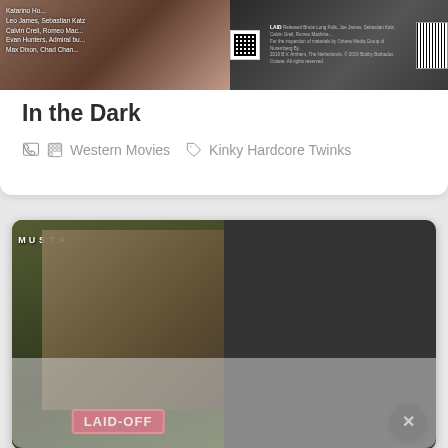[Figure (photo): DVD cover top strip showing partial front and back cover of adult film]
In the Dark
Western Movies   Kinky Hardcore Twinks
[Figure (photo): DVD cover for 'Laid-Off' by Mustang showing front and back cover with multiple scene photos]